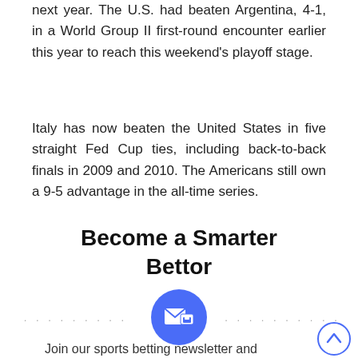next year. The U.S. had beaten Argentina, 4-1, in a World Group II first-round encounter earlier this year to reach this weekend's playoff stage.
Italy has now beaten the United States in five straight Fed Cup ties, including back-to-back finals in 2009 and 2010. The Americans still own a 9-5 advantage in the all-time series.
Become a Smarter Bettor
[Figure (illustration): Blue circle icon with envelope/mail symbol, flanked by dotted lines on both sides]
Join our sports betting newsletter and